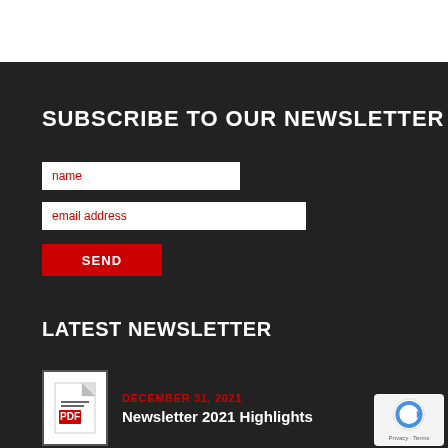SUBSCRIBE TO OUR NEWSLETTER
name
email address
SEND
LATEST NEWSLETTER
DECEMBER 31, 2021
Newsletter 2021 Highlights
[Figure (logo): reCAPTCHA logo with Privacy and Terms text]